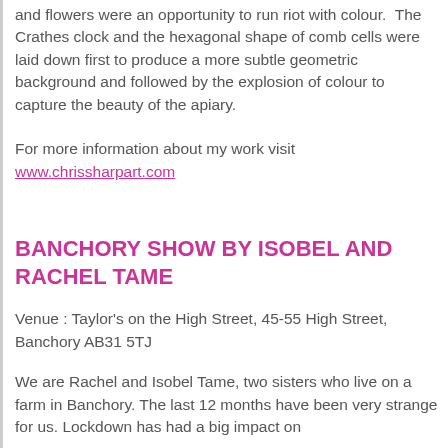and flowers were an opportunity to run riot with colour. The Crathes clock and the hexagonal shape of comb cells were laid down first to produce a more subtle geometric background and followed by the explosion of colour to capture the beauty of the apiary.
For more information about my work visit www.chrissharpart.com
BANCHORY SHOW BY ISOBEL AND RACHEL TAME
Venue : Taylor's on the High Street, 45-55 High Street, Banchory AB31 5TJ
We are Rachel and Isobel Tame, two sisters who live on a farm in Banchory. The last 12 months have been very strange for us. Lockdown has had a big impact on